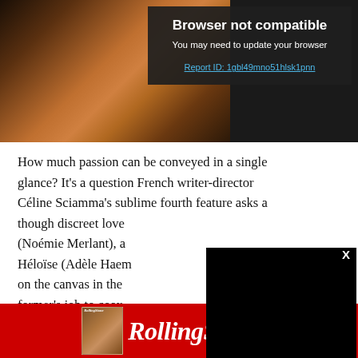[Figure (photo): Top section showing a warm-toned close-up figure (film still) on the left, with a dark overlay on the right containing a 'Browser not compatible' warning message with a report ID link]
Browser not compatible
You may need to update your browser
Report ID: 1gbl49mno51hlsk1pnn
How much passion can be conveyed in a single glance? It's a question French writer-director Céline Sciamma's sublime fourth feature asks as though discreet love (Noémie Merlant), a Héloïse (Adèle Haem on the canvas in the former's job to coax friction turns to an u on Fire uses its evoc
[Figure (other): Black video player overlay popup with X close button]
[Figure (other): Rolling Stone advertisement banner — red background with small magazine cover on left and Rolling Stone italic logo text in white]